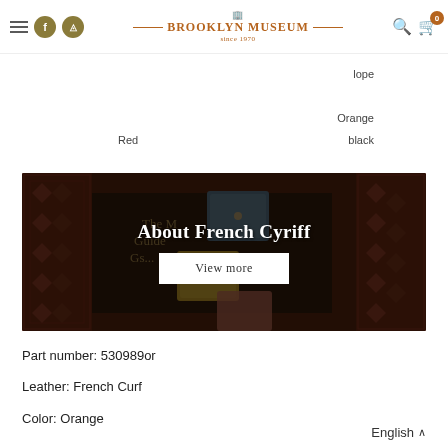Brooklyn Museum since 1970 — navigation header with hamburger menu, social icons, search and cart
lope
Orange
Red
black
[Figure (photo): Banner image showing leather wallets on a patterned rug background with text 'About French Cyriff' and a 'View more' button]
Part number: 530989or
Leather: French Curf
Color: Orange
English